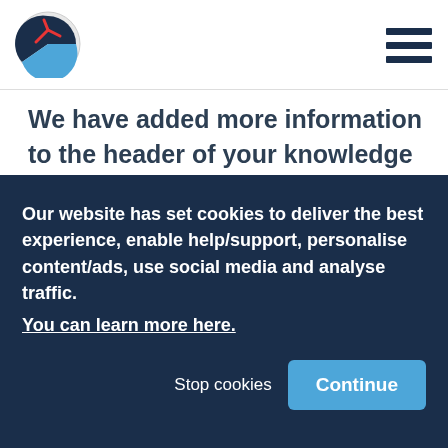[Figure (logo): Circular logo with dark navy blue sector and red accent lines on white/grey background]
[Figure (other): Hamburger menu icon — three horizontal dark navy bars]
We have added more information to the header of your knowledge elements. We now
Our website has set cookies to deliver the best experience, enable help/support, personalise content/ads, use social media and analyse traffic.
You can learn more here.
Stop cookies
Continue